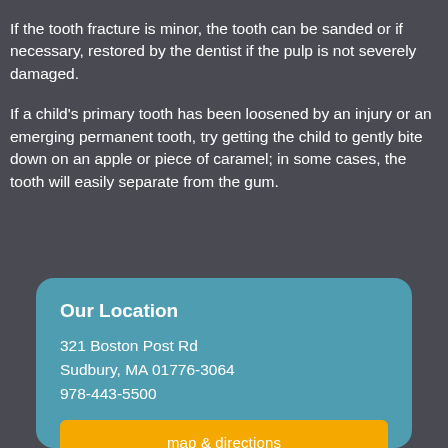If the tooth fracture is minor, the tooth can be sanded or if necessary, restored by the dentist if the pulp is not severely damaged.
If a child's primary tooth has been loosened by an injury or an emerging permanent tooth, try getting the child to gently bite down on an apple or piece of caramel; in some cases, the tooth will easily separate from the gum.
Our Location
321 Boston Post Rd
Sudbury, MA 01776-3064
978-443-5500
map & directions
Patient Education